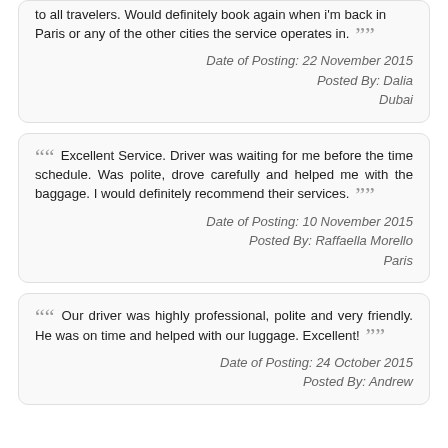to all travelers. Would definitely book again when i'm back in Paris or any of the other cities the service operates in. ””
Date of Posting: 22 November 2015
Posted By: Dalia
Dubai
““ Excellent Service. Driver was waiting for me before the time schedule. Was polite, drove carefully and helped me with the baggage. I would definitely recommend their services. ””
Date of Posting: 10 November 2015
Posted By: Raffaella Morello
Paris
““ Our driver was highly professional, polite and very friendly. He was on time and helped with our luggage. Excellent! ””
Date of Posting: 24 October 2015
Posted By: Andrew